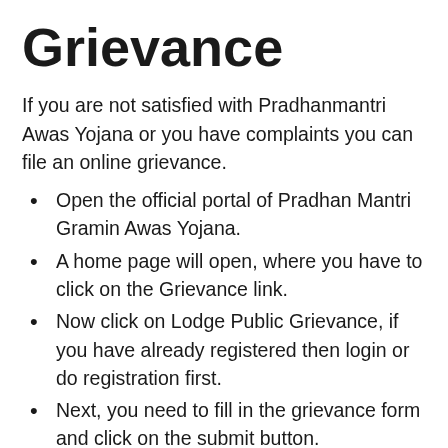Grievance
If you are not satisfied with Pradhanmantri Awas Yojana or you have complaints you can file an online grievance.
Open the official portal of Pradhan Mantri Gramin Awas Yojana.
A home page will open, where you have to click on the Grievance link.
Now click on Lodge Public Grievance, if you have already registered then login or do registration first.
Next, you need to fill in the grievance form and click on the submit button.
Track Grievance